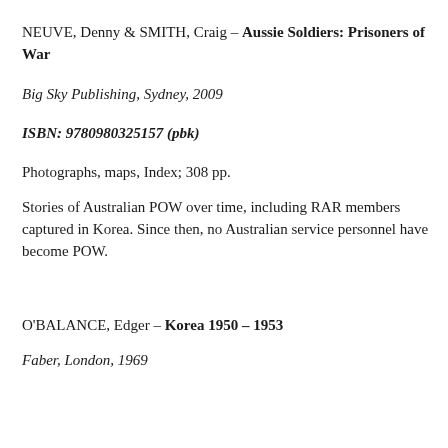NEUVE, Denny & SMITH, Craig – Aussie Soldiers: Prisoners of War
Big Sky Publishing, Sydney, 2009
ISBN: 9780980325157 (pbk)
Photographs, maps, Index; 308 pp.
Stories of Australian POW over time, including RAR members captured in Korea. Since then, no Australian service personnel have become POW.
O'BALANCE, Edger – Korea 1950 – 1953
Faber, London, 1969